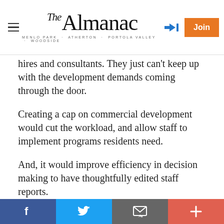The Almanac — Menlo Park · Atherton · Portola Valley · Woodside
hires and consultants. They just can't keep up with the development demands coming through the door.
Creating a cap on commercial development would cut the workload, and allow staff to implement programs residents need.
And, it would improve efficiency in decision making to have thoughtfully edited staff reports.
Social sharing bar: Facebook, Twitter, Email, More